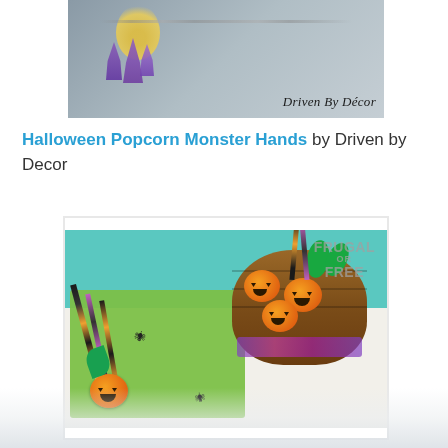[Figure (photo): Partial view of purple crystal and yellow fluffy decoration on gray background with 'Driven By Décor' text overlay]
Halloween Popcorn Monster Hands by Driven by Decor
[Figure (photo): Halloween-themed photo showing a wicker basket filled with jack-o-lantern figurines and pencils on a teal background, with a green placemat, more pencils and pumpkin keychain in the foreground. 'FRUGAL or FREE' watermark visible. Scalloped white border edges.]